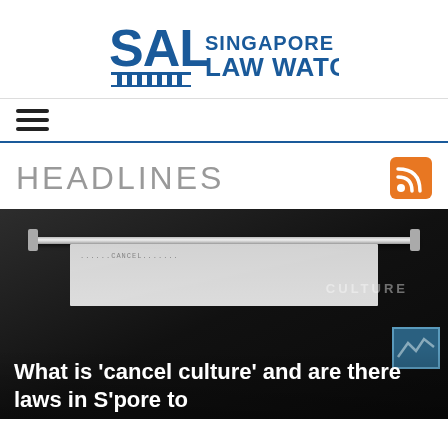[Figure (logo): SAL Singapore Law Watch logo — SAL monogram with pillars icon on left, 'SINGAPORE LAW WATCH' text on right in dark blue]
[Figure (other): Hamburger menu icon (three horizontal lines)]
HEADLINES
[Figure (photo): Dark background photo of a typewriter with paper showing 'CULTURE' text, with article headline overlay: 'What is 'cancel culture' and are there laws in S'pore to']
What is 'cancel culture' and are there laws in S'pore to